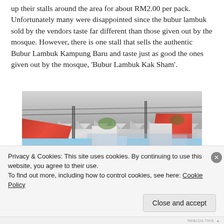up their stalls around the area for about RM2.00 per pack. Unfortunately many were disappointed since the bubur lambuk sold by the vendors taste far different than those given out by the mosque. However, there is one stall that sells the authentic Bubur Lambuk Kampung Baru and taste just as good the ones given out by the mosque, 'Bubur Lambuk Kak Sham'.
[Figure (photo): Photo taken under a white tent/canopy showing red cloth canopies of market stalls, wooden poles, hanging cloths, and a busy outdoor market scene in the background.]
Privacy & Cookies: This site uses cookies. By continuing to use this website, you agree to their use.
To find out more, including how to control cookies, see here: Cookie Policy